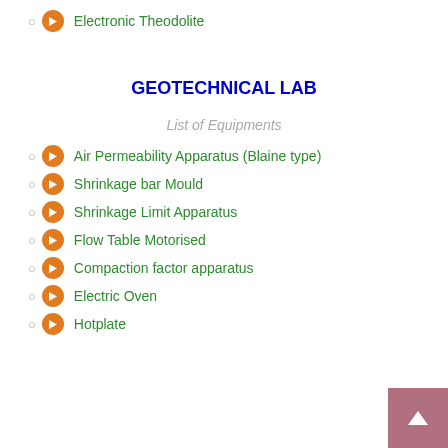Electronic Theodolite
GEOTECHNICAL LAB
List of Equipments
Air Permeability Apparatus (Blaine type)
Shrinkage bar Mould
Shrinkage Limit Apparatus
Flow Table Motorised
Compaction factor apparatus
Electric Oven
Hotplate